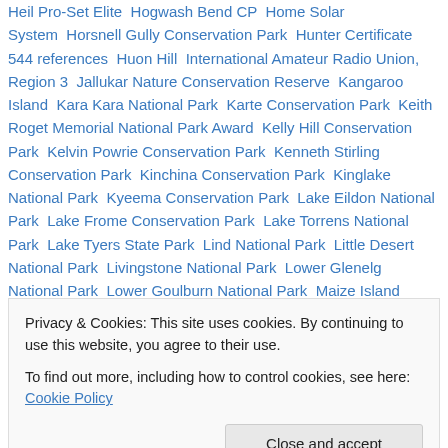Heil Pro-Set Elite  Hogwash Bend CP  Home Solar System  Horsnell Gully Conservation Park  Hunter Certificate 544 references  Huon Hill  International Amateur Radio Union, Region 3  Jallukar Nature Conservation Reserve  Kangaroo Island  Kara Kara National Park  Karte Conservation Park  Keith Roget Memorial National Park Award  Kelly Hill Conservation Park  Kelvin Powrie Conservation Park  Kenneth Stirling Conservation Park  Kinchina Conservation Park  Kinglake National Park  Kyeema Conservation Park  Lake Eildon National Park  Lake Frome Conservation Park  Lake Torrens National Park  Lake Tyers State Park  Lind National Park  Little Desert National Park  Livingstone National Park  Lower Glenelg National Park  Lower Goulburn National Park  Maize Island Lagoon CP  Maria Island National Park  Marino Rocks CP  Mark Oliphant Conservation Park  Martindale
Privacy & Cookies: This site uses cookies. By continuing to use this website, you agree to their use. To find out more, including how to control cookies, see here: Cookie Policy
Mount Lofty  Mount Monster Conservation Park  Mount Remarkable